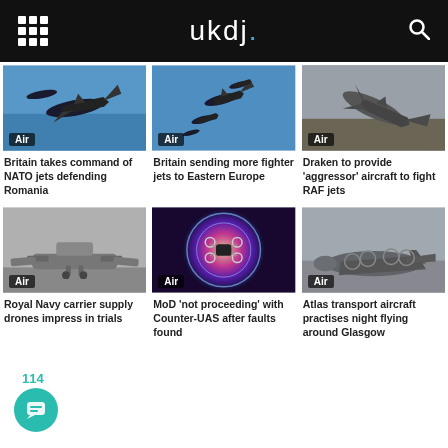ukdj.
[Figure (photo): Military jet aircraft flying in blue sky]
[Figure (photo): Multiple fighter jets in formation against blue sky]
[Figure (photo): Military jet aircraft from above over terrain]
Britain takes command of NATO jets defending Romania
Britain sending more fighter jets to Eastern Europe
Draken to provide 'aggressor' aircraft to fight RAF jets
[Figure (photo): Supply drone on airfield, grey tones]
[Figure (photo): Drone with glowing circular light effect]
[Figure (photo): Atlas transport aircraft flying in cloudy sky]
Royal Navy carrier supply drones impress in trials
MoD 'not proceeding' with Counter-UAS after faults found
Atlas transport aircraft practises night flying around Glasgow
114